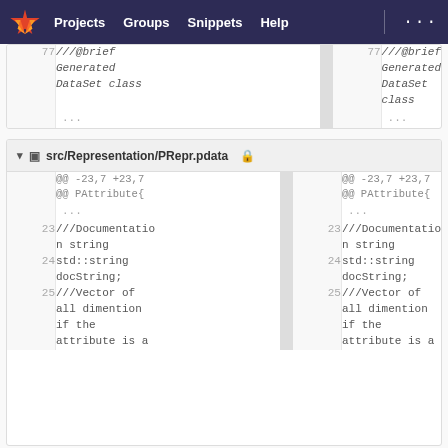Projects  Groups  Snippets  Help  ...
[Figure (screenshot): GitLab diff view showing two files. First partial diff block shows line 77 with ///@brief Generated DataSet class on both sides. Second diff block for src/Representation/PRepr.pdata shows lines 23-25 with ///Documentation string, std::string docString;, and ///Vector of all dimention if the attribute is a]
src/Representation/PRepr.pdata